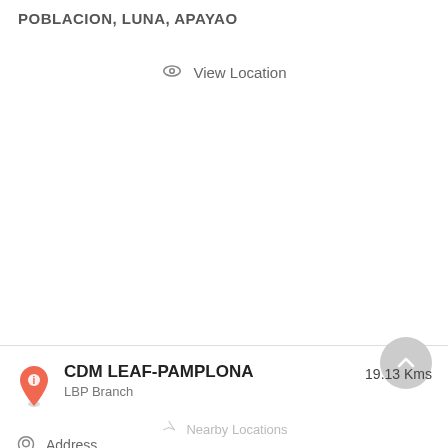POBLACION, LUNA, APAYAO
View Location
CDM LEAF-PAMPLONA
LBP Branch
19.13 Kms
Nearby Locations
Address